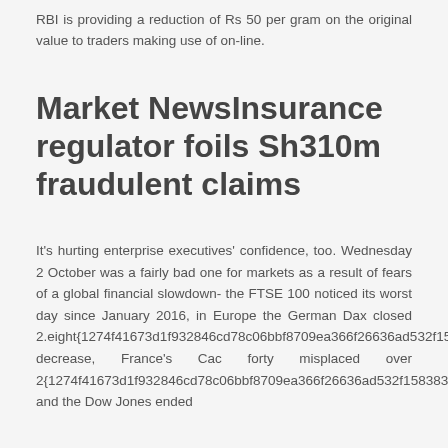RBI is providing a reduction of Rs 50 per gram on the original value to traders making use of on-line.
Market NewsInsurance regulator foils Sh310m fraudulent claims
It’s hurting enterprise executives’ confidence, too. Wednesday 2 October was a fairly bad one for markets as a result of fears of a global financial slowdown- the FTSE 100 noticed its worst day since January 2016, in Europe the German Dax closed 2.eight{1274f41673d1f932846cd78c06bbf8709ea366f26636ad532f1583839c6e1907} decrease, France’s Cac forty misplaced over 2{1274f41673d1f932846cd78c06bbf8709ea366f26636ad532f1583839c6e1907}, and the Dow Jones ended